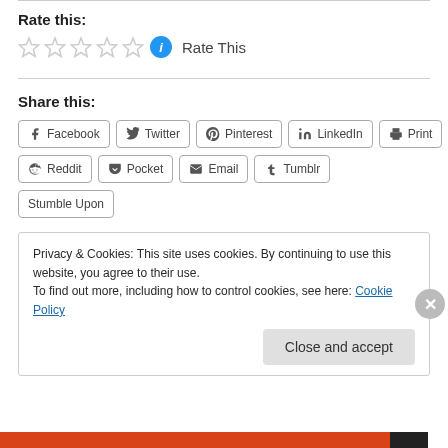Rate this:
☆ ☆ ☆ ☆ ☆  Rate This
Share this:
Facebook
Twitter
Pinterest
LinkedIn
Print
Reddit
Pocket
Email
Tumblr
Stumble Upon
Privacy & Cookies: This site uses cookies. By continuing to use this website, you agree to their use.
To find out more, including how to control cookies, see here: Cookie Policy
Close and accept